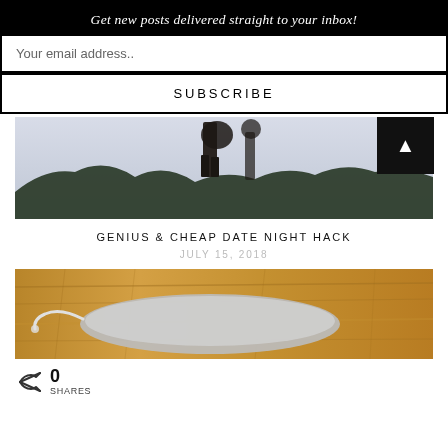Get new posts delivered straight to your inbox!
Your email address..
SUBSCRIBE
[Figure (photo): Partial view of a person standing outdoors against a light sky with dark trees/foliage at the bottom]
GENIUS & CHEAP DATE NIGHT HACK
JULY 15, 2018
[Figure (photo): A grey/silver fabric item (possibly a bag or pouch) with string ties, lying on a wooden surface]
0 SHARES